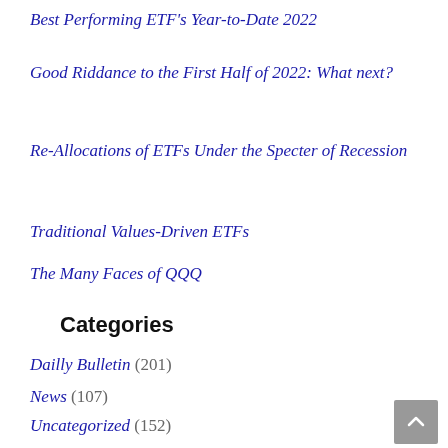Best Performing ETF's Year-to-Date 2022
Good Riddance to the First Half of 2022: What next?
Re-Allocations of ETFs Under the Specter of Recession
Traditional Values-Driven ETFs
The Many Faces of QQQ
Categories
Dailly Bulletin (201)
News (107)
Uncategorized (152)
Weekly Newsletter (227)